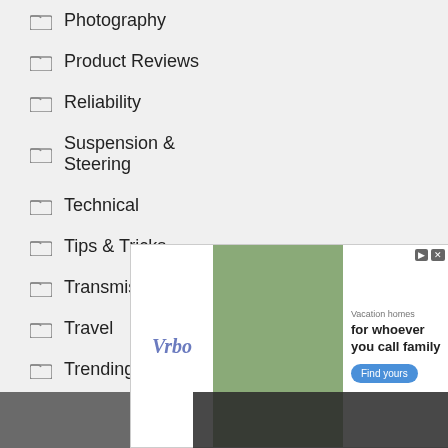Photography
Product Reviews
Reliability
Suspension & Steering
Technical
Tips & Tricks
Transmission
Travel
Trending
Troubleshooting
Tyres
Video
[Figure (screenshot): Video player overlay showing 'No compatible source was found for this media.' message with X button and close button]
[Figure (screenshot): Vrbo advertisement banner showing vacation homes with text 'Vacation homes for whoever you call family' and Find yours button]